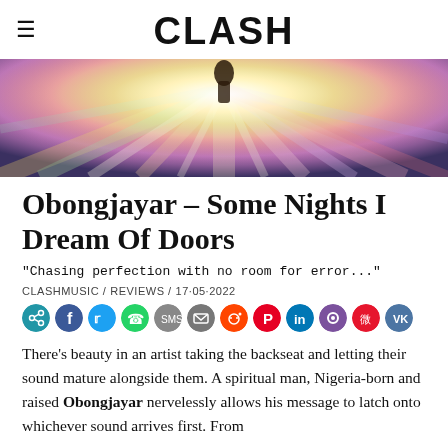CLASH
[Figure (photo): Colorful psychedelic hero image with bright radiating light streaks in yellow, pink, green, and blue, with a dark silhouette figure in the center top.]
Obongjayar – Some Nights I Dream Of Doors
"Chasing perfection with no room for error..."
CLASHMUSIC / REVIEWS / 17·05·2022
There's beauty in an artist taking the backseat and letting their sound mature alongside them. A spiritual man, Nigeria-born and raised Obongjayar nervelessly allows his message to latch onto whichever sound arrives first. From